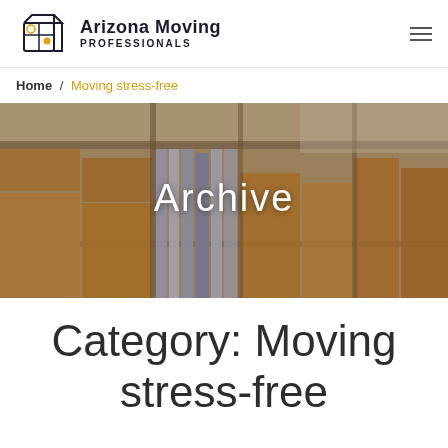Arizona Moving PROFESSIONALS
Home / Moving stress-free
[Figure (photo): Warehouse storage shelves filled with cardboard boxes and archive binders, with 'Archive' text overlay in white]
Category: Moving stress-free